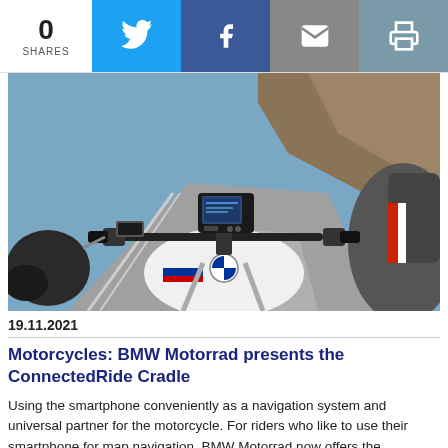0 SHARES
[Figure (photo): First-person view from a BMW motorcycle cockpit showing handlebars, instrument cluster with TFT display, BMW logo on fuel tank, and a winding mountain road. Rider's gloved hands visible on both sides.]
19.11.2021
Motorcycles: BMW Motorrad presents the ConnectedRide Cradle
Using the smartphone conveniently as a navigation system and universal partner for the motorcycle. For riders who like to use their smartphone for map navigation, BMW Motorrad now offers the ConnectedRide Cradle. mehr >>